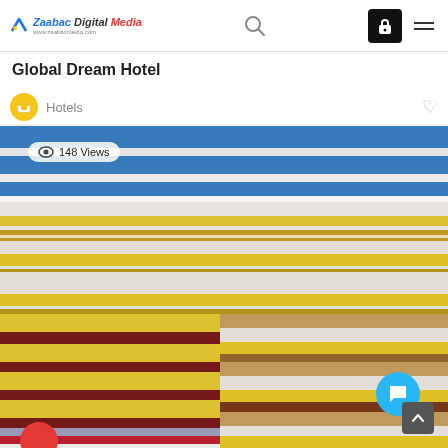Zaabac Digital Media — header with search and icons
Global Dream Hotel
Hotels
[Figure (photo): Stack of colorful striped towels/fabrics folded and piled on top of each other. Colors include blue, white, yellow/gold, brown, maroon, and red stripes. A '148 Views' badge is overlaid on the upper-left of the image. A teal chat bubble icon is visible in the lower-right area.]